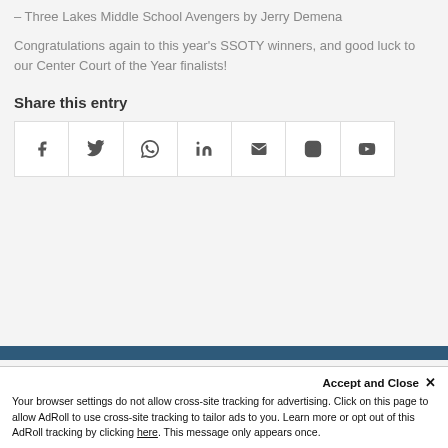Three Lakes Middle School Avengers by Jerry Demena
Congratulations again to this year's SSOTY winners, and good luck to our Center Court of the Year finalists!
Share this entry
[Figure (infographic): Row of 7 social media share icons: Facebook, Twitter, WhatsApp, LinkedIn, Email, Instagram, YouTube]
Accept and Close ✕ Your browser settings do not allow cross-site tracking for advertising. Click on this page to allow AdRoll to use cross-site tracking to tailor ads to you. Learn more or opt out of this AdRoll tracking by clicking here. This message only appears once.